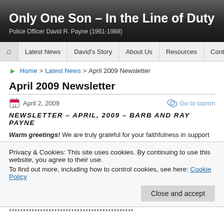Only One Son – In the Line of Duty
Police Officer David R. Payne (1961-1988)
Latest News | David's Story | About Us | Resources | Contact
Home > Latest News > April 2009 Newsletter
April 2009 Newsletter
April 2, 2009   Go to comm
NEWSLETTER – APRIL, 2009 – BARB AND RAY PAYNE
Warm greetings! We are truly grateful for your faithfulness in support and praye months and the many miles traveled!  We have had many opportunities to prese situations, including the recent annual Law Enforcement Conference held here at
Privacy & Cookies: This site uses cookies. By continuing to use this website, you agree to their use.
To find out more, including how to control cookies, see here: Cookie Policy
Close and accept
********************************************